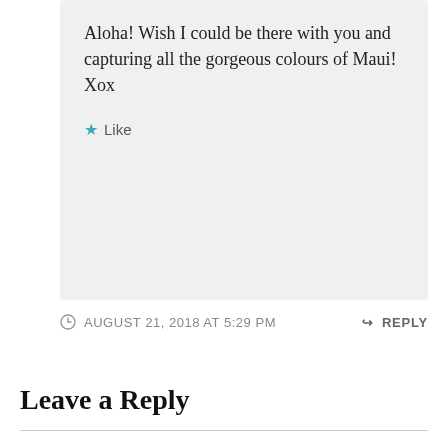Aloha! Wish I could be there with you and capturing all the gorgeous colours of Maui! Xox
Like
AUGUST 21, 2018 AT 5:29 PM
REPLY
Leave a Reply
Your email address will not be published. Required fields are marked *
Comment *